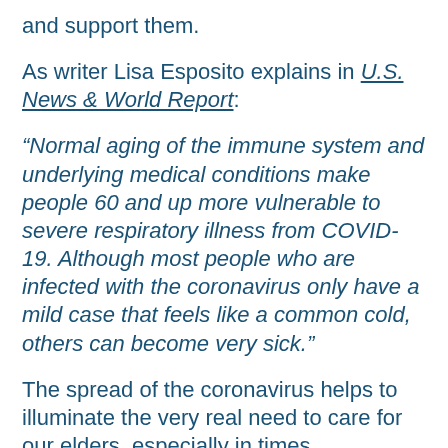and support them.
As writer Lisa Esposito explains in U.S. News & World Report:
“Normal aging of the immune system and underlying medical conditions make people 60 and up more vulnerable to severe respiratory illness from COVID-19. Although most people who are infected with the coronavirus only have a mild case that feels like a common cold, others can become very sick.”
The spread of the coronavirus helps to illuminate the very real need to care for our elders, especially in times of crisis—…